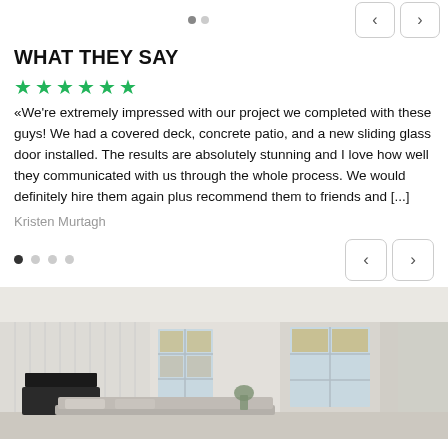[Figure (screenshot): Navigation dots (filled and empty) with back/forward arrow buttons at top of page carousel]
WHAT THEY SAY
[Figure (infographic): Six green star rating icons]
«We're extremely impressed with our project we completed with these guys! We had a covered deck, concrete patio, and a new sliding glass door installed. The results are absolutely stunning and I love how well they communicated with us through the whole process. We would definitely hire them again plus recommend them to friends and [...]
Kristen Murtagh
[Figure (screenshot): Navigation dots (one filled, three empty) with back/forward arrow buttons for testimonials carousel]
[Figure (photo): Interior photo of a bright living room with white walls, large windows letting in natural light, a TV unit on the left wall, and a grey sofa with cushions in the foreground]